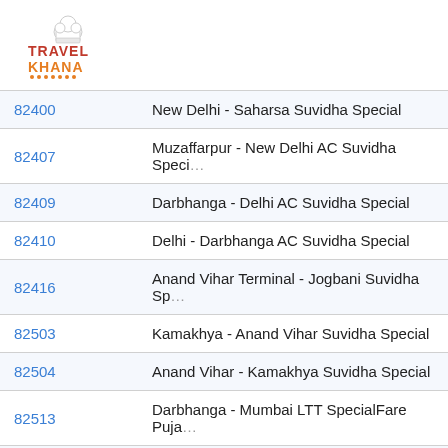[Figure (logo): Travel Khana logo with chef hat icon, TRAVEL in red and KHANA in orange, with orange dots underline]
| Train No. | Train Name |
| --- | --- |
| 82400 | New Delhi - Saharsa Suvidha Special |
| 82407 | Muzaffarpur - New Delhi AC Suvidha Specia… |
| 82409 | Darbhanga - Delhi AC Suvidha Special |
| 82410 | Delhi - Darbhanga AC Suvidha Special |
| 82416 | Anand Vihar Terminal - Jogbani Suvidha Sp… |
| 82503 | Kamakhya - Anand Vihar Suvidha Special |
| 82504 | Anand Vihar - Kamakhya Suvidha Special |
| 82513 | Darbhanga - Mumbai LTT SpecialFare Puja… |
| 82514 | Mumbai LTT - Darbhanga SpecialFare Puja… |
| 82527 | Darbhanga - Delhi Suvidha Special |